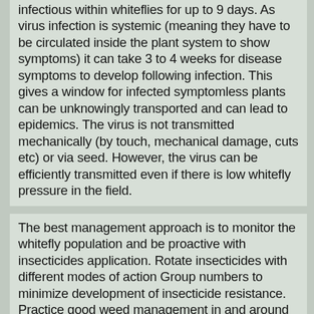infectious within whiteflies for up to 9 days. As virus infection is systemic (meaning they have to be circulated inside the plant system to show symptoms) it can take 3 to 4 weeks for disease symptoms to develop following infection. This gives a window for infected symptomless plants can be unknowingly transported and can lead to epidemics. The virus is not transmitted mechanically (by touch, mechanical damage, cuts etc) or via seed. However, the virus can be efficiently transmitted even if there is low whitefly pressure in the field.
The best management approach is to monitor the whitefly population and be proactive with insecticides application. Rotate insecticides with different modes of action Group numbers to minimize development of insecticide resistance. Practice good weed management in and around fields to the extent feasible. Remove and destroy old crops/volunteers, enforce regional cucurbit -free period to eliminate the virus from